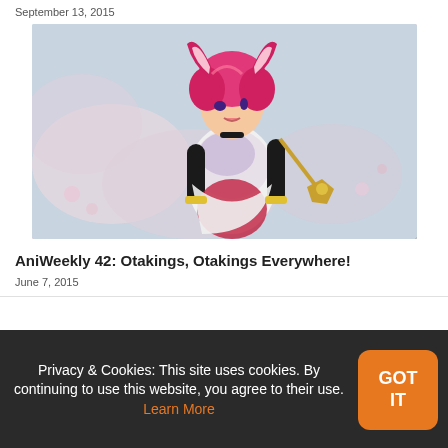September 13, 2015
[Figure (illustration): Anime illustration of a girl with pink/red hair and bunny ears wearing a white outfit, holding a wand, with a floral background]
AniWeekly 42: Otakings, Otakings Everywhere!
June 7, 2015
Privacy & Cookies: This site uses cookies. By continuing to use this website, you agree to their use. Learn More
GOT IT
Anime... | More